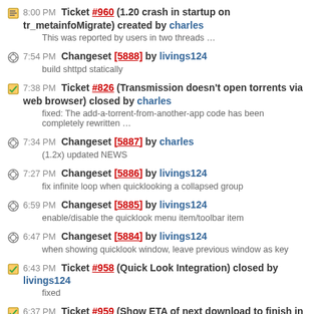8:00 PM Ticket #960 (1.20 crash in startup on tr_metainfoMigrate) created by charles
This was reported by users in two threads …
7:54 PM Changeset [5888] by livings124
build shttpd statically
7:38 PM Ticket #826 (Transmission doesn't open torrents via web browser) closed by charles
fixed: The add-a-torrent-from-another-app code has been completely rewritten …
7:34 PM Changeset [5887] by charles
(1.2x) updated NEWS
7:27 PM Changeset [5886] by livings124
fix infinite loop when quicklooking a collapsed group
6:59 PM Changeset [5885] by livings124
enable/disable the quicklook menu item/toolbar item
6:47 PM Changeset [5884] by livings124
when showing quicklook window, leave previous window as key
6:43 PM Ticket #958 (Quick Look Integration) closed by livings124
fixed
6:37 PM Ticket #959 (Show ETA of next download to finish in badge) closed by John Clay
wontfix: This would be bloat and would make the badge look too busy. And